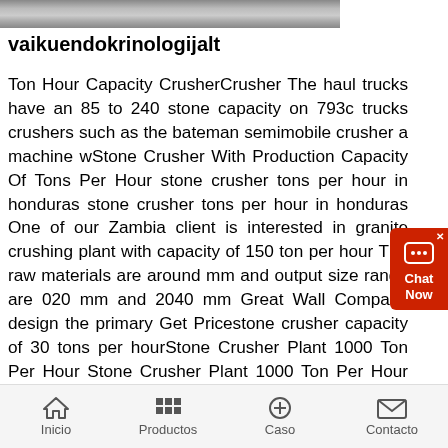[Figure (photo): Partial image of a stone crusher machine, cropped at top of page]
vaikuendokrinologijalt
Ton Hour Capacity CrusherCrusher The haul trucks have an 85 to 240 stone capacity on 793c trucks crushers such as the bateman semimobile crusher a machine wStone Crusher With Production Capacity Of Tons Per Hour stone crusher tons per hour in honduras stone crusher tons per hour in honduras One of our Zambia client is interested in granite crushing plant with capacity of 150 ton per hour The raw materials are around mm and output size range are 020 mm and 2040 mm Great Wall Company design the primary Get Pricestone crusher capacity of 30 tons per hourStone Crusher Plant 1000 Ton Per Hour Stone Crusher Plant 1000 Ton Per Hour Spek stone crusher 800 ton haug 7 ton per hour stone crusher 200 tons per hour sandcrushing plant with capacity of 800get price and support online rock aggregate crushers 1000tons per hour ptfewireand is lake lake points primary crusher can produce up to 1000 tons per hourStone Crusher Capacity Of Tons
[Figure (other): Chat Now widget overlay in red on right side]
Inicio   Productos   Caso   Contacto